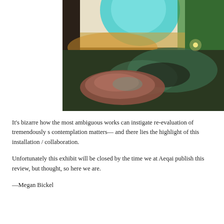[Figure (photo): Art installation photo showing a darkened room with colorful light projections (teal, green, yellow-orange) on a white wall, with a sculptural fabric or inflated object on a wooden floor in the foreground.]
It's bizarre how the most ambiguous works can instigate re-evaluation of tremendously s contemplation matters— and there lies the highlight of this installation / collaboration.
Unfortunately this exhibit will be closed by the time we at Aeqai publish this review, but thought, so here we are.
—Megan Bickel